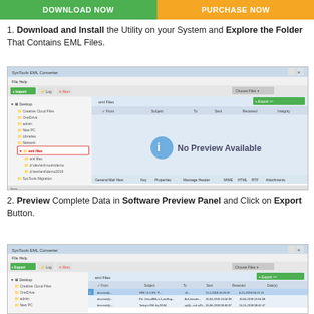[Figure (screenshot): Two buttons: Download Now (green) and Purchase Now (orange)]
1. Download and Install the Utility on your System and Explore the Folder That Contains EML Files.
[Figure (screenshot): SysTools EML Converter software window showing folder tree on left with 'eml files' folder selected, and main panel showing 'No Preview Available' message]
2. Preview Complete Data in Software Preview Panel and Click on Export Button.
[Figure (screenshot): SysTools EML Converter software window showing email list in preview panel with multiple emails listed]